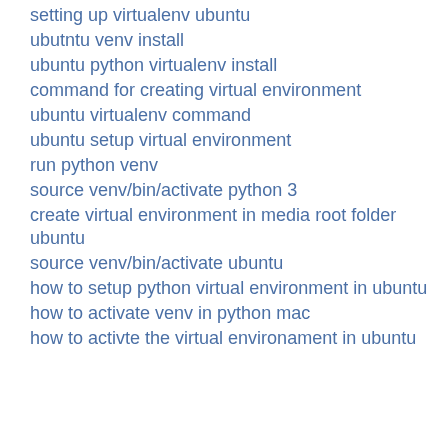setting up virtualenv ubuntu
ubutntu venv install
ubuntu python virtualenv install
command for creating virtual environment
ubuntu virtualenv command
ubuntu setup virtual environment
run python venv
source venv/bin/activate python 3
create virtual environment in media root folder ubuntu
source venv/bin/activate ubuntu
how to setup python virtual environment in ubuntu
how to activate venv in python mac
how to activte the virtual environament in ubuntu